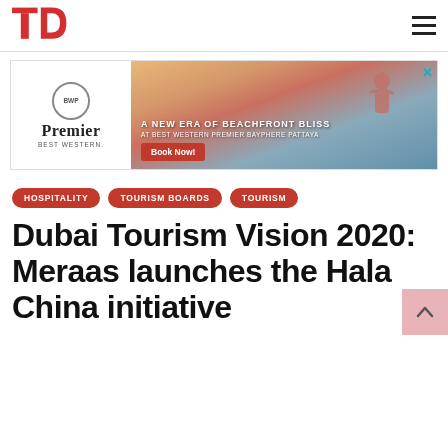TD
[Figure (infographic): BWP Premier Best Western advertisement banner: left side white background with BWP circle logo, Premier Best Western text. Right side: sunset beach photo with woman in red swimsuit. Text: A NEW ERA OF BEACHFRONT BLISS AT BEST WESTERN PREMIER BAYPHERE PATTAYA. Book Now button in red.]
HOSPITALITY
TOURISM BOARDS
TOURISM
Dubai Tourism Vision 2020: Meraas launches the Hala China initiative